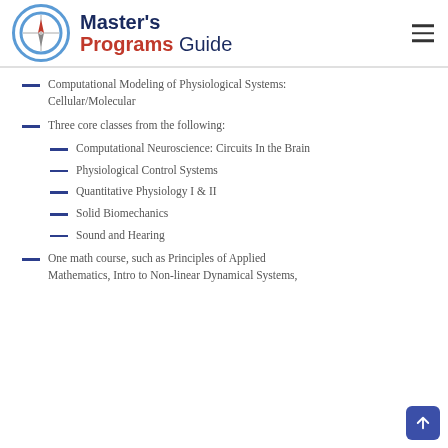Master's Programs Guide
Computational Modeling of Physiological Systems: Cellular/Molecular
Three core classes from the following:
Computational Neuroscience: Circuits In the Brain
Physiological Control Systems
Quantitative Physiology I & II
Solid Biomechanics
Sound and Hearing
One math course, such as Principles of Applied Mathematics, Intro to Non-linear Dynamical Systems,